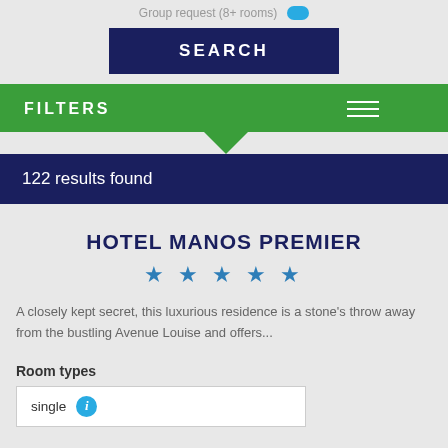Group request (8+ rooms)
SEARCH
FILTERS
122 results found
HOTEL MANOS PREMIER
★★★★★
A closely kept secret, this luxurious residence is a stone's throw away from the bustling Avenue Louise and offers...
Room types
single